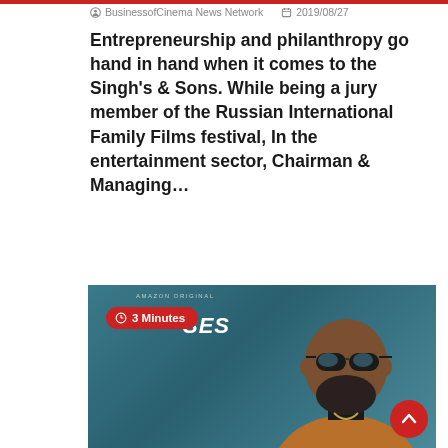BusinessofCinema News Network  2019/08/27
Entrepreneurship and philanthropy go hand in hand when it comes to the Singh's & Sons. While being a jury member of the Russian International Family Films festival, In the entertainment sector, Chairman & Managing…
Read More
[Figure (photo): Photo of a bald man wearing sunglasses and a brown jacket against a teal/blue background, with Amazon Original branding and 'SES' text overlay, and a '3 Minutes' red timer badge]